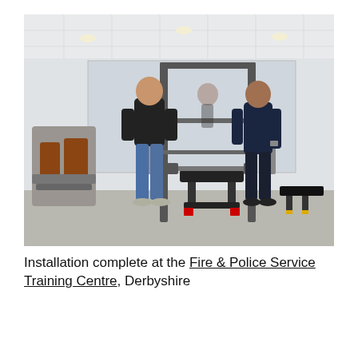[Figure (photo): Two men standing in a gym facility with fitness equipment including a multi-station cable machine, weight bench with barbell, and leg extension/curl machines. The room has a mirrored wall, white ceiling tiles with recessed lighting, and light grey flooring. The man on the left wears a black polo shirt and blue jeans; the man on the right wears a dark navy outfit.]
Installation complete at the Fire & Police Service Training Centre, Derbyshire